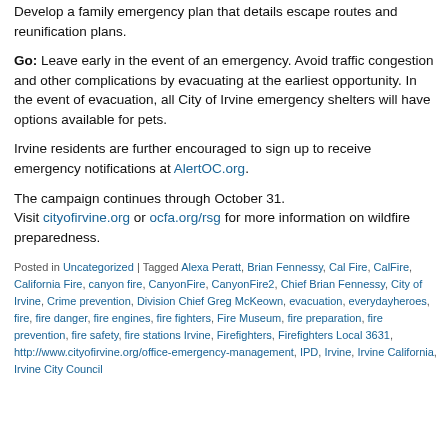Develop a family emergency plan that details escape routes and reunification plans.
Go: Leave early in the event of an emergency. Avoid traffic congestion and other complications by evacuating at the earliest opportunity. In the event of evacuation, all City of Irvine emergency shelters will have options available for pets.
Irvine residents are further encouraged to sign up to receive emergency notifications at AlertOC.org.
The campaign continues through October 31. Visit cityofirvine.org or ocfa.org/rsg for more information on wildfire preparedness.
Posted in Uncategorized | Tagged Alexa Peratt, Brian Fennessy, Cal Fire, CalFire, California Fire, canyon fire, CanyonFire, CanyonFire2, Chief Brian Fennessy, City of Irvine, Crime prevention, Division Chief Greg McKeown, evacuation, everydayheroes, fire, fire danger, fire engines, fire fighters, Fire Museum, fire preparation, fire prevention, fire safety, fire stations Irvine, Firefighters, Firefighters Local 3631, http://www.cityofirvine.org/office-emergency-management, IPD, Irvine, Irvine California, Irvine City Council